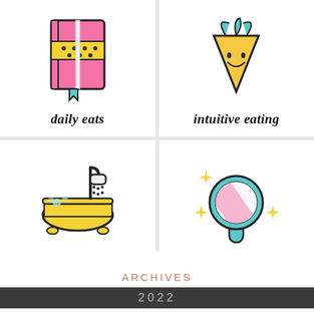[Figure (illustration): Pink notebook/journal icon with yellow polka-dot band and teal bookmark ribbon]
daily eats
[Figure (illustration): Yellow cartoon carrot with teal green leaves and a happy face]
intuitive eating
[Figure (illustration): Yellow clawfoot bathtub with shower head and blue bubbles]
self-care
[Figure (illustration): Teal hand mirror with pink striped reflection and yellow sparkle stars]
body image
ARCHIVES
2022